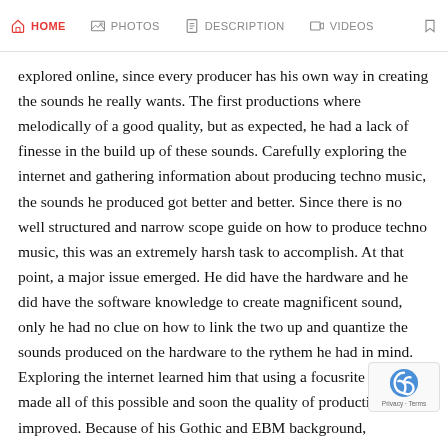HOME  PHOTOS  DESCRIPTION  VIDEOS
explored online, since every producer has his own way in creating the sounds he really wants. The first productions where melodically of a good quality, but as expected, he had a lack of finesse in the build up of these sounds. Carefully exploring the internet and gathering information about producing techno music, the sounds he produced got better and better. Since there is no well structured and narrow scope guide on how to produce techno music, this was an extremely harsh task to accomplish. At that point, a major issue emerged. He did have the hardware and he did have the software knowledge to create magnificent sound, only he had no clue on how to link the two up and quantize the sounds produced on the hardware to the rythem he had in mind. Exploring the internet learned him that using a focusrite interface made all of this possible and soon the quality of productions improved. Because of his Gothic and EBM background, combined with his clubbing experience in the early